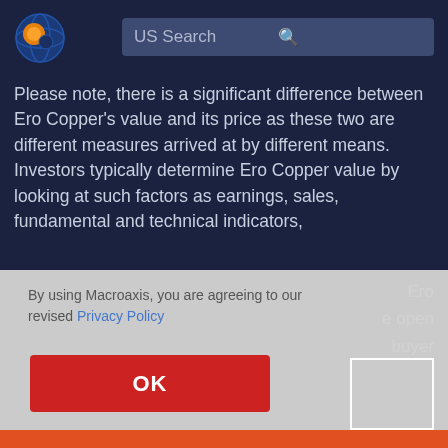[Figure (logo): Macroaxis globe logo with orange and blue colors]
US Search
Please note, there is a significant difference between Ero Copper's value and its price as these two are different measures arrived at by different means. Investors typically determine Ero Copper value by looking at such factors as earnings, sales, fundamental and technical indicators, competitive analysis, and other market determination – Ero ... e open ... buyer
By using Macroaxis, you are agreeing to our revised Privacy Policy
OK